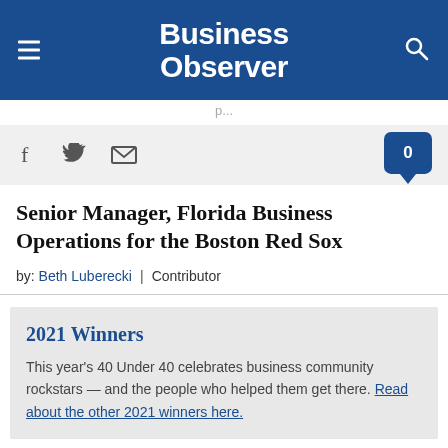Business Observer
p...
[Figure (other): Social share bar with Facebook, Twitter, and email icons, plus a comment count bubble showing 0]
Senior Manager, Florida Business Operations for the Boston Red Sox
by: Beth Luberecki | Contributor
2021 Winners
This year's 40 Under 40 celebrates business community rockstars — and the people who helped them get there. Read about the other 2021 winners here.